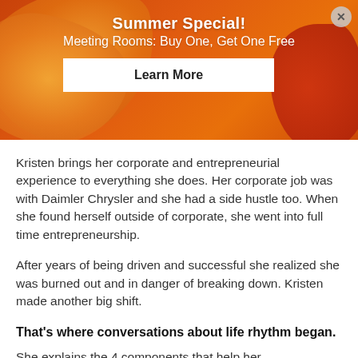[Figure (infographic): Orange/red floral banner advertisement for 'Summer Special! Meeting Rooms: Buy One, Get One Free' with a 'Learn More' button and an X close button in the top right corner.]
Kristen brings her corporate and entrepreneurial experience to everything she does. Her corporate job was with Daimler Chrysler and she had a side hustle too. When she found herself outside of corporate, she went into full time entrepreneurship.
After years of being driven and successful she realized she was burned out and in danger of breaking down. Kristen made another big shift.
That's where conversations about life rhythm began.
She explains the 4 components that help her